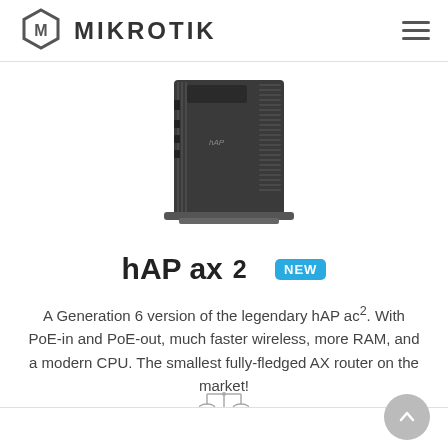MikroTik
[Figure (photo): MikroTik hAP ax2 router device photo - dark grey compact router shown from rear angle on a stand]
hAP ax² NEW
A Generation 6 version of the legendary hAP ac². With PoE-in and PoE-out, much faster wireless, more RAM, and a modern CPU. The smallest fully-fledged AX router on the market!
[Figure (illustration): Compare/scales icon in grey]
$99.00